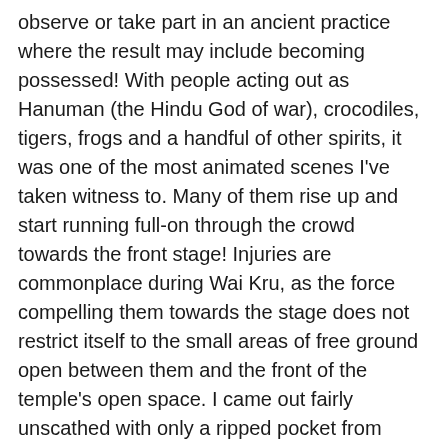observe or take part in an ancient practice where the result may include becoming possessed! With people acting out as Hanuman (the Hindu God of war), crocodiles, tigers, frogs and a handful of other spirits, it was one of the most animated scenes I've taken witness to. Many of them rise up and start running full-on through the crowd towards the front stage! Injuries are commonplace during Wai Kru, as the force compelling them towards the stage does not restrict itself to the small areas of free ground open between them and the front of the temple's open space. I came out fairly unscathed with only a ripped pocket from someone crashing into some of the security near the front platform. He was kicking wildly as some of the security team tried to calm him and bring him out of his trance. Wat Bang Phra's Wai Kru's security is there mostly for the possessed's safety, as well as for some of the media who for the most part gathers behind the front line. I saw many feet flying around where their owners head should have been as the possessed's body hurdled at near-light speed velocity, sometimes uncontrollably toward the